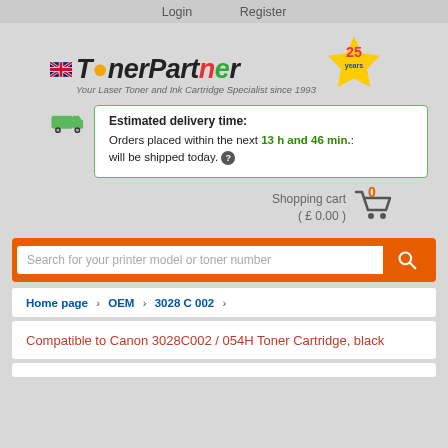Login   Register
[Figure (logo): TonerPartner logo with UK flag, tagline 'Your Laser Toner and Ink Cartridge Specialist since 1993', and 25 years badge]
Estimated delivery time:
Orders placed within the next 13 h and 46 min.: will be shipped today. ?
Shopping cart
(£0.00)
Search for your printer model or toner number
Home page › OEM › 3028 C 002 ›
Compatible to Canon 3028C002 / 054H Toner Cartridge, black